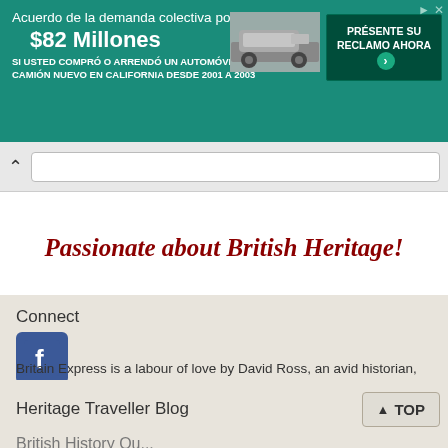[Figure (screenshot): Advertisement banner in teal/green color: 'Acuerdo de la demanda colectiva por $82 Millones - SI USTED COMPRÓ O ARRENDÓ UN AUTOMÓVIL O CAMIÓN NUEVO EN CALIFORNIA DESDE 2001 A 2003' with a pickup truck image and green 'PRÉSENTE SU RECLAMO AHORA' button]
[Figure (screenshot): Browser navigation bar with back arrow and URL bar]
Passionate about British Heritage!
Connect
[Figure (logo): Facebook logo icon - blue square with white 'f']
Britain Express is a labour of love by David Ross, an avid historian, photographer, and 'Britain-ophile'. Connect with us on Facebook.
Fun stuff
Heritage Traveller Blog
▲ TOP
British History Qu...